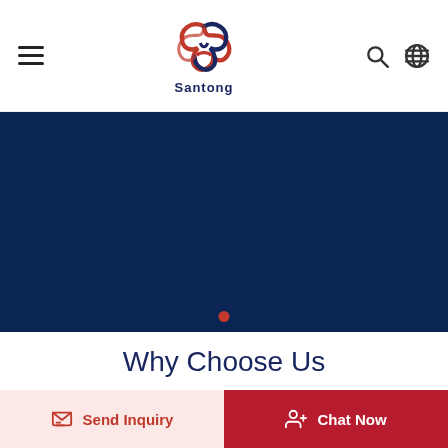Santong — navigation header with hamburger menu, logo, search and language icons
[Figure (screenshot): Dark navy blue banner/hero image area with a single red dot indicator at the bottom center]
Why Choose Us
We have been specialized in rope manufacturing since 2004.
Send Inquiry
Chat Now